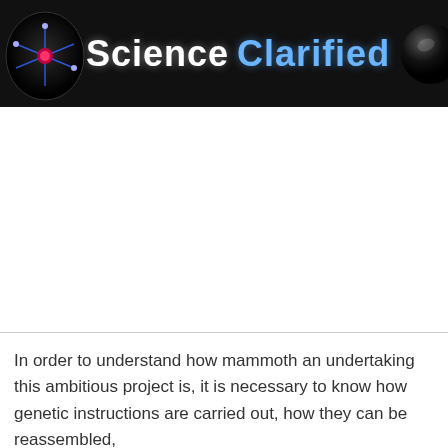Science Clarified
[Figure (other): Large white advertisement/content area below the Science Clarified header navigation bar]
In order to understand how mammoth an undertaking this ambitious project is, it is necessary to know how genetic instructions are carried out, how they can be reassembled,